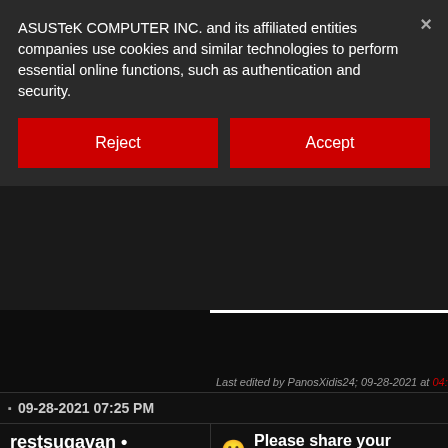ASUSTeK COMPUTER INC. and its affiliated entities companies use cookies and similar technologies to perform essential online functions, such as authentication and security.
Reject
Accept
Last edited by PanosXidis24; 09-28-2021 at 04:5
09-28-2021 07:25 PM
restsugavan •
ROG Guru: Blue Belt
restsugavan PC Specs
Please share your experiences
0200002A was engineering sample of SK
Could you showing everyone your benchr 15 a bit ?